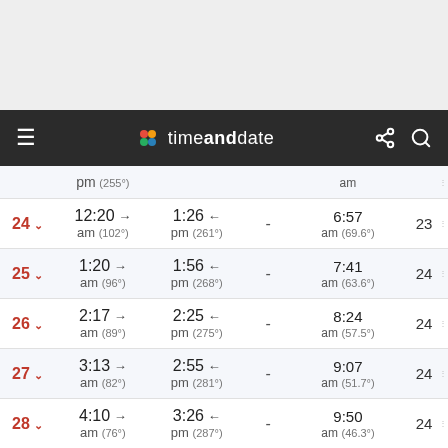timeanddate website header with navigation
| Day | Moonrise | Moonset |  | Solar noon | Day length |
| --- | --- | --- | --- | --- | --- |
| 24 | 12:20 am (102°) | 1:26 pm (261°) | - | 6:57 am (69.6°) | 23 |
| 25 | 1:20 am (96°) | 1:56 pm (268°) | - | 7:41 am (63.6°) | 24 |
| 26 | 2:17 am (89°) | 2:25 pm (275°) | - | 8:24 am (57.5°) | 24 |
| 27 | 3:13 am (82°) | 2:55 pm (281°) | - | 9:07 am (51.7°) | 24 |
| 28 | 4:10 am (76°) | 3:26 pm (287°) | - | 9:50 am (46.3°) | 24 |
|  | 5:06 | 3:59 |  | 10:35 |  |